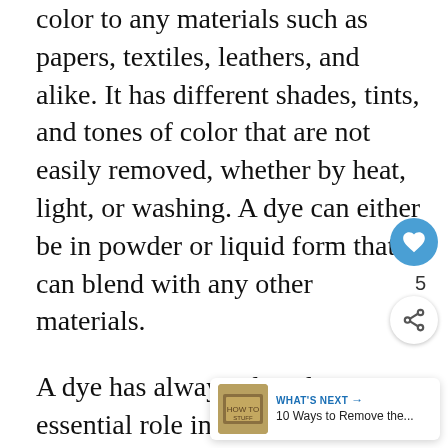color to any materials such as papers, textiles, leathers, and alike. It has different shades, tints, and tones of color that are not easily removed, whether by heat, light, or washing. A dye can either be in powder or liquid form that can blend with any other materials.
A dye has always played an essential role in commerce. All the materials needed to produce clothes, shoes, bags, papers, and the things required for our daily use had to undergo a dyeing process.
A dye has two types which are called a natural dye and a synthetic dye.